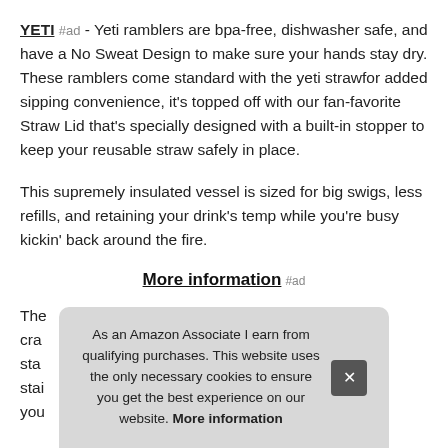YETI #ad - Yeti ramblers are bpa-free, dishwasher safe, and have a No Sweat Design to make sure your hands stay dry. These ramblers come standard with the yeti strawfor added sipping convenience, it's topped off with our fan-favorite Straw Lid that's specially designed with a built-in stopper to keep your reusable straw safely in place.
This supremely insulated vessel is sized for big swigs, less refills, and retaining your drink's temp while you're busy kickin' back around the fire.
More information #ad
The [partially obscured] crac[ks] sta[ndard] stai[nless] you[r]
As an Amazon Associate I earn from qualifying purchases. This website uses the only necessary cookies to ensure you get the best experience on our website. More information